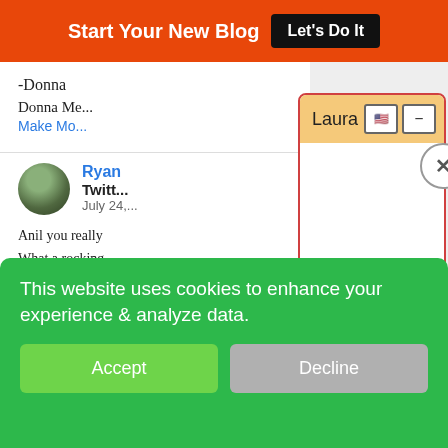Start Your New Blog  Let's Do It
-Donna
Donna Me...
Make Mo...
[Figure (screenshot): Chat popup window titled 'Laura' with orange/yellow header, US flag icon button, minus button, and X close button on a white background with red border]
Ryan
Twitt...
July 24,...
Anil you really
What a rocking
[Figure (screenshot): Green cookie consent banner with text 'This website uses cookies to enhance your experience & analyze data.' with Accept and Decline buttons]
w my blog is fast
because even when I check it on a Chromebook or laptop it is super